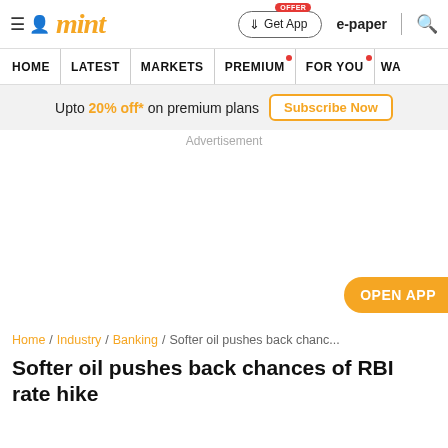mint | Get App | e-paper
HOME | LATEST | MARKETS | PREMIUM | FOR YOU | WA
Upto 20% off* on premium plans  Subscribe Now
Advertisement
OPEN APP
Home / Industry / Banking / Softer oil pushes back chanc...
Softer oil pushes back chances of RBI rate hike